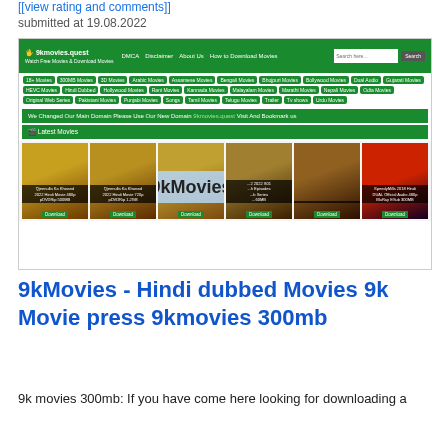[[view rating and comments]]
submitted at 19.08.2022
[Figure (screenshot): Screenshot of 9kmovies.quest website showing navigation bar with green header, category tags, domain change banner, Latest Movies section header, and a row of movie poster thumbnails with a '9kMovies' watermark overlay]
9kMovies - Hindi dubbed Movies 9k Movie press 9kmovies 300mb
9k movies 300mb: If you have come here looking for downloading a